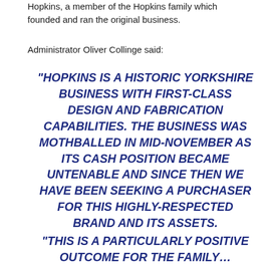Hopkins, a member of the Hopkins family which founded and ran the original business.
Administrator Oliver Collinge said:
“HOPKINS IS A HISTORIC YORKSHIRE BUSINESS WITH FIRST-CLASS DESIGN AND FABRICATION CAPABILITIES. THE BUSINESS WAS MOTHBALLED IN MID-NOVEMBER AS ITS CASH POSITION BECAME UNTENABLE AND SINCE THEN WE HAVE BEEN SEEKING A PURCHASER FOR THIS HIGHLY-RESPECTED BRAND AND ITS ASSETS.
“THIS IS A PARTICULARLY POSITIVE OUTCOME FOR THE FAMILY…